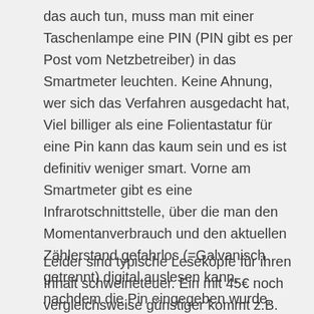das auch tun, muss man mit einer Taschenlampe eine PIN (PIN gibt es per Post vom Netzbetreiber) in das Smartmeter leuchten. Keine Ahnung, wer sich das Verfahren ausgedacht hat, Viel billiger als eine Folientastatur für eine Pin kann das kaum sein und es ist definitiv weniger smart. Vorne am Smartmeter gibt es eine Infrarotschnittstelle, über die man den Momentanverbrauch und den aktuellen Zählerstand gefahrlos (=Galvanisch getrennt) digital auslesen kann, nachdem die Pin eingegeben wurde.
Leider sind typische Leseköpfe für ihren Inhalt schweineteuer. Ein mit 45€ noch vergleichsweise günstiger kommt z.B. von